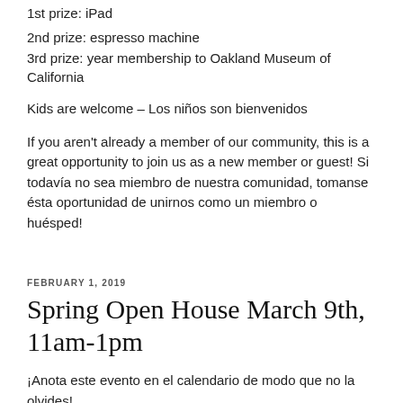1st prize: iPad
2nd prize: espresso machine
3rd prize: year membership to Oakland Museum of California
Kids are welcome – Los niños son bienvenidos
If you aren't already a member of our community, this is a great opportunity to join us as a new member or guest! Si todavía no sea miembro de nuestra comunidad, tomanse ésta oportunidad de unirnos como un miembro o huésped!
FEBRUARY 1, 2019
Spring Open House March 9th, 11am-1pm
¡Anota este evento en el calendario de modo que no la olvides!